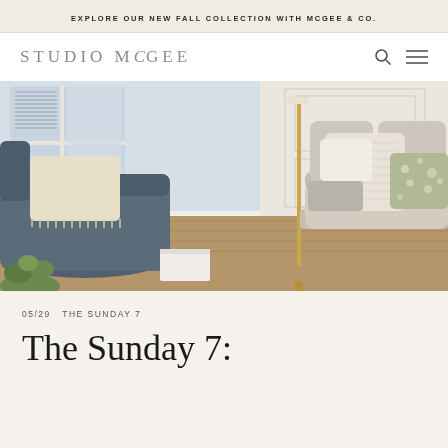EXPLORE OUR NEW FALL COLLECTION WITH MCGEE & CO.
STUDIO MCGEE
[Figure (photo): Interior living room scene with a light gray sofa adorned with cream textured and sage green floral throw pillows. A brass floor lamp stands in the center. On the left, a dark slate blue curved chair with a cream fringed pillow. White paneled walls, hardwood floors, and natural light from windows in the background. Green plant visible in the lower left corner.]
05/29  THE SUNDAY 7
The Sunday 7: